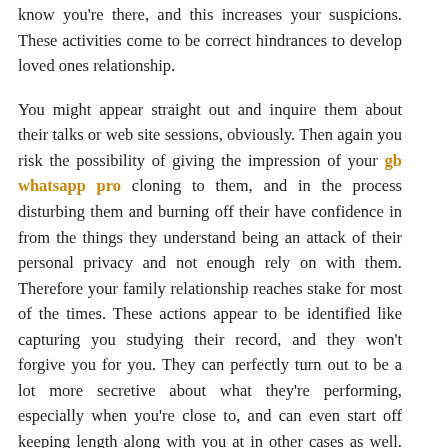know you're there, and this increases your suspicions. These activities come to be correct hindrances to develop loved ones relationship.
You might appear straight out and inquire them about their talks or web site sessions, obviously. Then again you risk the possibility of giving the impression of your gb whatsapp pro cloning to them, and in the process disturbing them and burning off their have confidence in from the things they understand being an attack of their personal privacy and not enough rely on with them. Therefore your family relationship reaches stake for most of the times. These actions appear to be identified like capturing you studying their record, and they won't forgive you for you. They can perfectly turn out to be a lot more secretive about what they're performing, especially when you're close to, and can even start off keeping length along with you at in other cases as well. They may even start off looking at to ascertain if you're electronically WhatsApp gb cloning upon them, should you be seeking check their chats and WhatsApp messages on interpersonal programs, browsing history behind their back again.